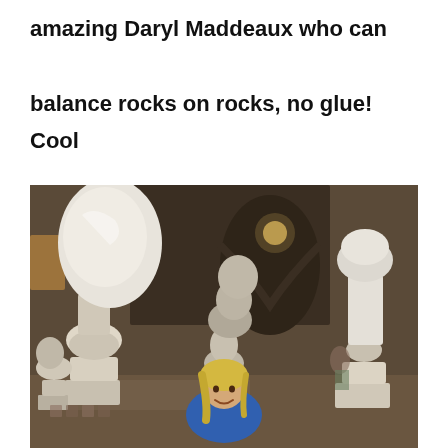amazing Daryl Maddeaux who can balance rocks on rocks, no glue! Cool rock towers!
[Figure (photo): A man with long blond hair wearing a blue shirt sits among several tall towers of balanced rocks stacked without glue, inside what appears to be a large indoor venue with brick walls and a mural in the background.]